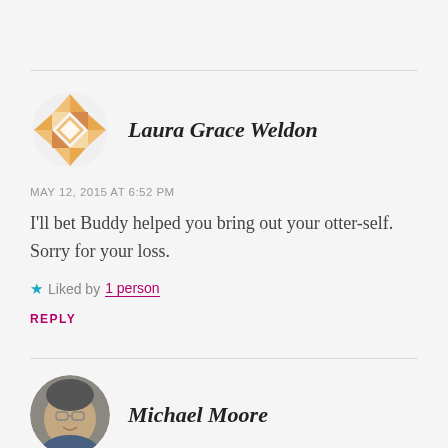[Figure (illustration): Geometric quilt-pattern circular avatar in orange/gold tones]
Laura Grace Weldon
MAY 12, 2015 AT 6:52 PM
I'll bet Buddy helped you bring out your otter-self. Sorry for your loss.
★ Liked by 1 person
REPLY
[Figure (photo): Circular profile photo of Michael Moore, an older man with glasses]
Michael Moore